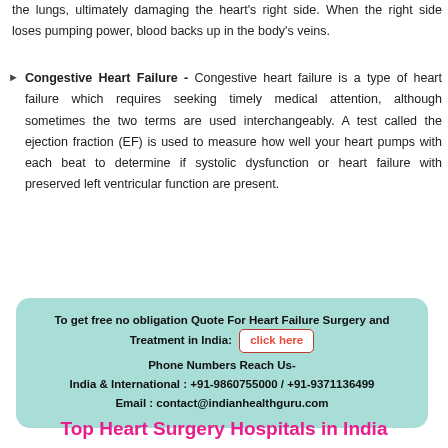the lungs, ultimately damaging the heart's right side. When the right side loses pumping power, blood backs up in the body's veins.
Congestive Heart Failure - Congestive heart failure is a type of heart failure which requires seeking timely medical attention, although sometimes the two terms are used interchangeably. A test called the ejection fraction (EF) is used to measure how well your heart pumps with each beat to determine if systolic dysfunction or heart failure with preserved left ventricular function are present.
To get free no obligation Quote For Heart Failure Surgery and Treatment in India: click here
Phone Numbers Reach Us-
India & International : +91-9860755000 / +91-9371136499
Email : contact@indianhealthguru.com
Top Heart Surgery Hospitals in India